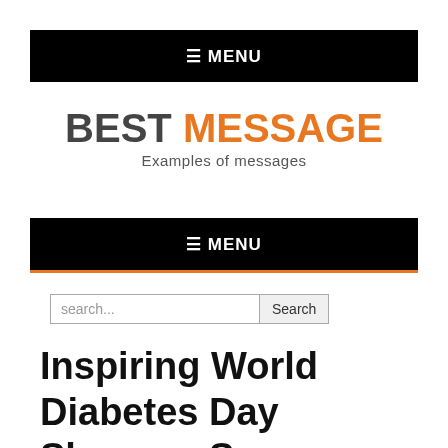≡ MENU
BEST MESSAGE
Examples of messages
≡ MENU
search...  Search
Inspiring World Diabetes Day Slogans, Sugar Slogans